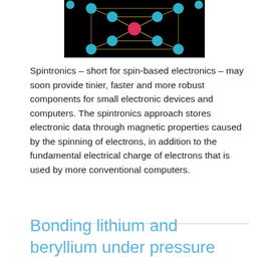[Figure (photo): Molecular model visualization showing blue and pink spheres (atoms) connected by lines on a black background, representing a crystal or molecular structure.]
Spintronics – short for spin-based electronics – may soon provide tinier, faster and more robust components for small electronic devices and computers. The spintronics approach stores electronic data through magnetic properties caused by the spinning of electrons, in addition to the fundamental electrical charge of electrons that is used by more conventional computers.
Read more
Bonding lithium and beryllium under pressure